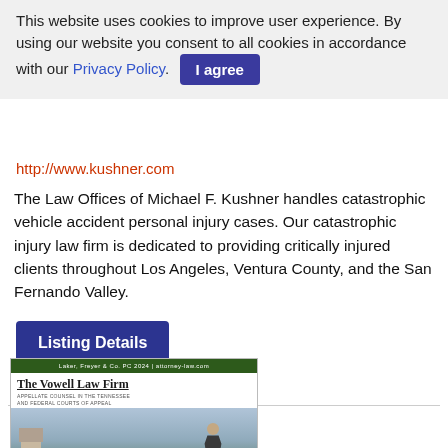This website uses cookies to improve user experience. By using our website you consent to all cookies in accordance with our Privacy Policy. I agree
http://www.kushner.com
The Law Offices of Michael F. Kushner handles catastrophic vehicle accident personal injury cases. Our catastrophic injury law firm is dedicated to providing critically injured clients throughout Los Angeles, Ventura County, and the San Fernando Valley.
Listing Details
[Figure (screenshot): Screenshot thumbnail of The Vowell Law Firm website showing dark green header bar, the firm name in serif underlined font, subtitle 'Appellate Counsel in the Tennessee and Federal Courts of Appeal', and a photo of a man in a suit standing in front of a waterfront with a historic tower building.]